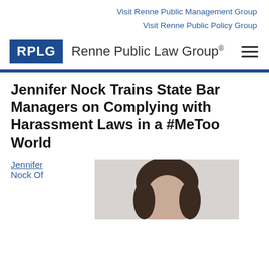Visit Renne Public Management Group
Visit Renne Public Policy Group
[Figure (logo): RPLG box logo with text 'Renne Public Law Group®']
Jennifer Nock Trains State Bar Managers on Complying with Harassment Laws in a #MeToo World
Jennifer Nock Of
[Figure (photo): Headshot photo of Jennifer Nock]